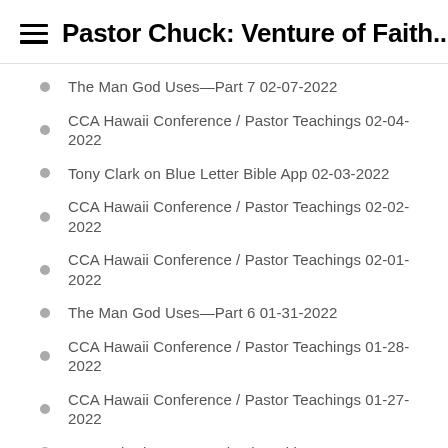Pastor Chuck: Venture of Faith...
The Man God Uses—Part 7 02-07-2022
CCA Hawaii Conference / Pastor Teachings 02-04-2022
Tony Clark on Blue Letter Bible App 02-03-2022
CCA Hawaii Conference / Pastor Teachings 02-02-2022
CCA Hawaii Conference / Pastor Teachings 02-01-2022
The Man God Uses—Part 6 01-31-2022
CCA Hawaii Conference / Pastor Teachings 01-28-2022
CCA Hawaii Conference / Pastor Teachings 01-27-2022
Remembering Pastor Chuck Smith 01-26-2022
Remembering Pastor Chuck Smith 01-25-2022
The Man God Uses—Part 5 01-24-2022
Remembering Pastor Chuck Smith 01-21-2022
Remembering Pastor Chuck Smith 01-20-2022
Remembering Pastor Chuck Smith 01-19-2022